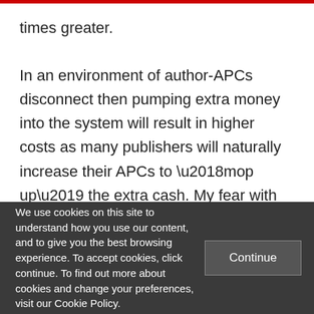times greater.

In an environment of author-APCs disconnect then pumping extra money into the system will result in higher costs as many publishers will naturally increase their APCs to ‘mop up’ the extra cash. My fear with this additional £10 million is that we are pumping money into a transitional system without first ensuring that we have a true
We use cookies on this site to understand how you use our content, and to give you the best browsing experience. To accept cookies, click continue. To find out more about cookies and change your preferences, visit our Cookie Policy.